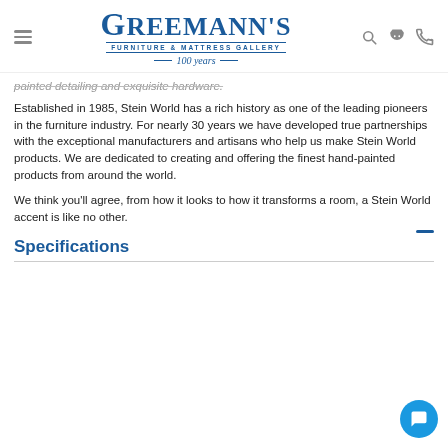Greemann's Furniture & Mattress Gallery — 100 years
painted detailing and exquisite hardware.
Established in 1985, Stein World has a rich history as one of the leading pioneers in the furniture industry. For nearly 30 years we have developed true partnerships with the exceptional manufacturers and artisans who help us make Stein World products. We are dedicated to creating and offering the finest hand-painted products from around the world.
We think you'll agree, from how it looks to how it transforms a room, a Stein World accent is like no other.
Specifications